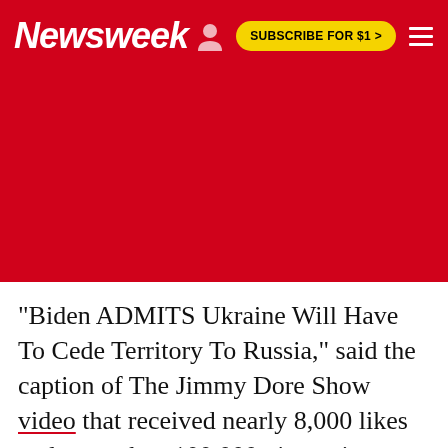Newsweek | SUBSCRIBE FOR $1 >
[Figure (other): Red advertisement placeholder area]
"Biden ADMITS Ukraine Will Have To Cede Territory To Russia," said the caption of The Jimmy Dore Show video that received nearly 8,000 likes and more than 100,000 views since